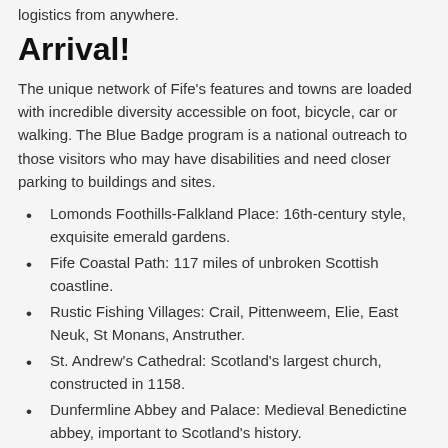logistics from anywhere.
Arrival!
The unique network of Fife's features and towns are loaded with incredible diversity accessible on foot, bicycle, car or walking. The Blue Badge program is a national outreach to those visitors who may have disabilities and need closer parking to buildings and sites.
Lomonds Foothills-Falkland Place: 16th-century style, exquisite emerald gardens.
Fife Coastal Path: 117 miles of unbroken Scottish coastline.
Rustic Fishing Villages: Crail, Pittenweem, Elie, East Neuk, St Monans, Anstruther.
St. Andrew's Cathedral: Scotland's largest church, constructed in 1158.
Dunfermline Abbey and Palace: Medieval Benedictine abbey, important to Scotland's history.
Adding delight to your Fife itinerary will be dining at local eateries and acclaimed restaurants. Enjoy mouth-watering